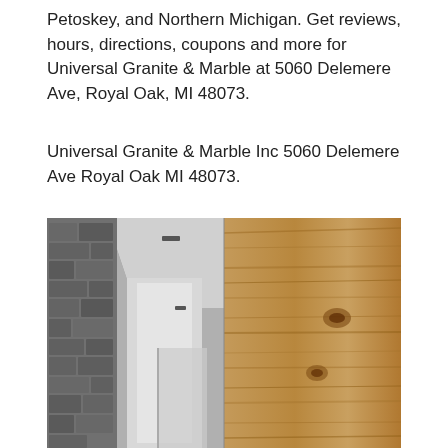Petoskey, and Northern Michigan. Get reviews, hours, directions, coupons and more for Universal Granite & Marble at 5060 Delemere Ave, Royal Oak, MI 48073.
Universal Granite & Marble Inc 5060 Delemere Ave Royal Oak MI 48073.
[Figure (photo): Split photo: left half is black and white showing a stone/granite textured wall with a corridor and bright ceiling; right half is a close-up of natural wood grain (knotty pine or similar).]